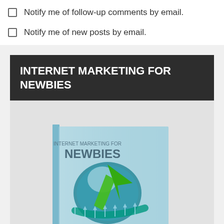Notify me of follow-up comments by email.
Notify me of new posts by email.
INTERNET MARKETING FOR NEWBIES
[Figure (photo): Book cover of 'Internet Marketing for Newbies' showing a 3D globe with green arrows and the book stacked twice]